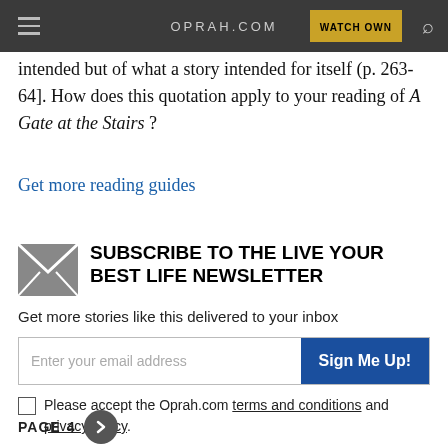OPRAH.COM
intended but of what a story intended for itself (p. 263-64]. How does this quotation apply to your reading of A Gate at the Stairs?
Get more reading guides
SUBSCRIBE TO THE LIVE YOUR BEST LIFE NEWSLETTER
Get more stories like this delivered to your inbox
Please accept the Oprah.com terms and conditions and privacy policy
PAGE 4